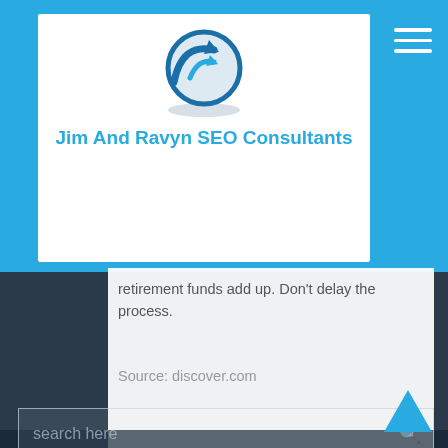[Figure (logo): Jim And Ravyn SEO Consultants logo with blue circular arrow icon]
Jim And Ravyn SEO Consultants
retirement funds add up. Don't delay the process.
Source: discover.com
search here
Categories
Account Management
Apartment Communities